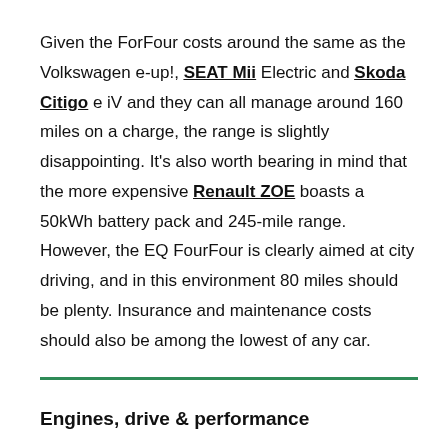Given the ForFour costs around the same as the Volkswagen e-up!, SEAT Mii Electric and Skoda Citigo e iV and they can all manage around 160 miles on a charge, the range is slightly disappointing. It's also worth bearing in mind that the more expensive Renault ZOE boasts a 50kWh battery pack and 245-mile range. However, the EQ FourFour is clearly aimed at city driving, and in this environment 80 miles should be plenty. Insurance and maintenance costs should also be among the lowest of any car.
Engines, drive & performance